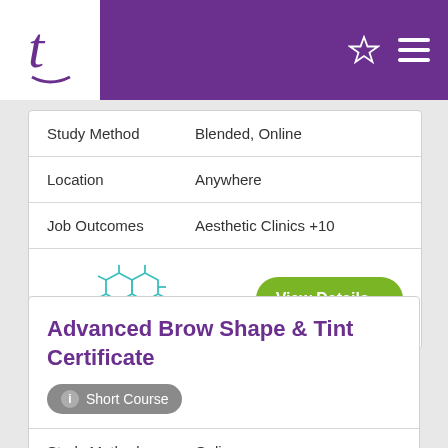t (Tutoroo logo)
| Field | Value |
| --- | --- |
| Study Method | Blended, Online |
| Location | Anywhere |
| Job Outcomes | Aesthetic Clinics +10 |
[Figure (logo): ACHW logo with molecular hexagon structure in teal and dark blue text]
View Details >
Advanced Brow Shape & Tint Certificate
Short Course
| Field | Value |
| --- | --- |
| Study Method | Online |